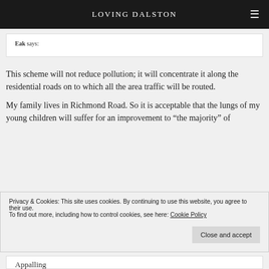LOVING DALSTON
Eak says:
This scheme will not reduce pollution; it will concentrate it along the residential roads on to which all the area traffic will be routed.
My family lives in Richmond Road. So it is acceptable that the lungs of my young children will suffer for an improvement to “the majority” of
Privacy & Cookies: This site uses cookies. By continuing to use this website, you agree to their use.
To find out more, including how to control cookies, see here: Cookie Policy
Close and accept
Appalling